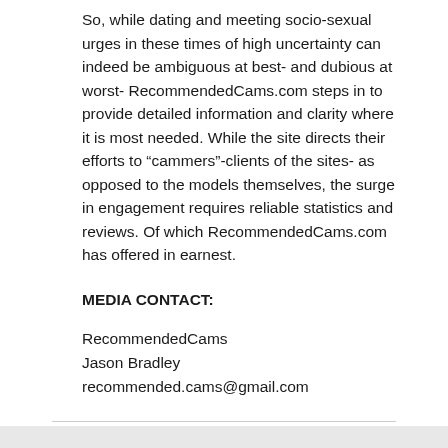So, while dating and meeting socio-sexual urges in these times of high uncertainty can indeed be ambiguous at best- and dubious at worst- RecommendedCams.com steps in to provide detailed information and clarity where it is most needed. While the site directs their efforts to “cammers”-clients of the sites- as opposed to the models themselves, the surge in engagement requires reliable statistics and reviews. Of which RecommendedCams.com has offered in earnest.
MEDIA CONTACT:
RecommendedCams
Jason Bradley
recommended.cams@gmail.com